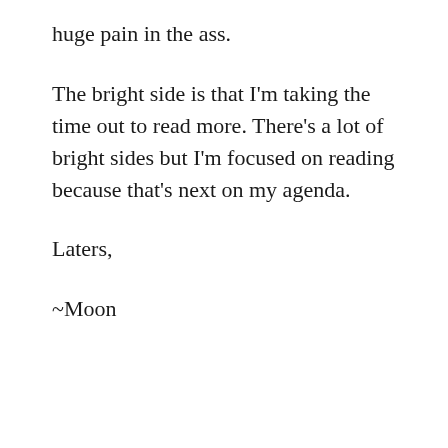huge pain in the ass.
The bright side is that I'm taking the time out to read more. There's a lot of bright sides but I'm focused on reading because that's next on my agenda.
Laters,
~Moon